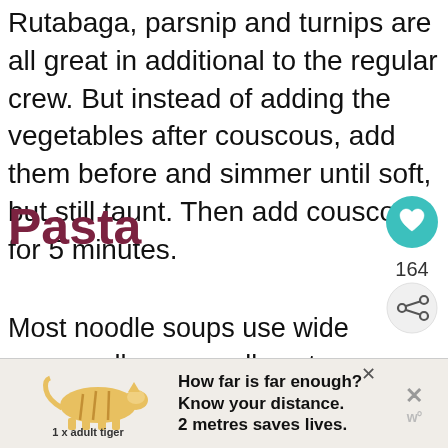Rutabaga, parsnip and turnips are all great in additional to the regular crew. But instead of adding the vegetables after couscous, add them before and simmer until soft, but still taunt. Then add couscous for 5 minutes.
Pasta
[Figure (other): Teal circular heart/favorite button icon]
164
[Figure (other): Share icon button (circular with share symbol)]
Most noodle soups use wide egg noodles or small pasta shapes like ditalini. I wanted to be a little different and after using larger c Italian Seafood Stew, I figured I've give them a whi
[Figure (other): What's Next promo card with thumbnail image of Crockpot Chicken dish and text 'WHAT'S NEXT → Crockpot Chicken...']
[Figure (other): Advertisement banner: tiger illustration with text '1 x adult tiger', headline 'How far is far enough? Know your distance. 2 metres saves lives.' with close and dismiss buttons]